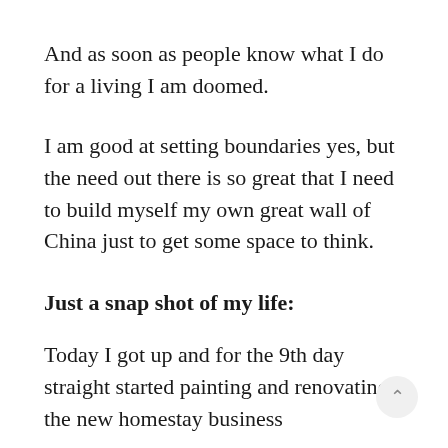And as soon as people know what I do for a living I am doomed.
I am good at setting boundaries yes, but the need out there is so great that I need to build myself my own great wall of China just to get some space to think.
Just a snap shot of my life:
Today I got up and for the 9th day straight started painting and renovating the new homestay business